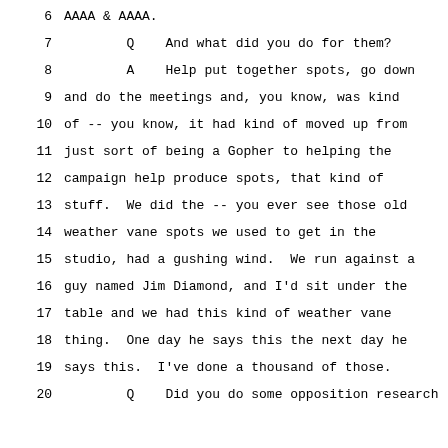6    AAAA & AAAA.
7         Q    And what did you do for them?
8         A    Help put together spots, go down
9    and do the meetings and, you know, was kind
10   of -- you know, it had kind of moved up from
11   just sort of being a Gopher to helping the
12   campaign help produce spots, that kind of
13   stuff.  We did the -- you ever see those old
14   weather vane spots we used to get in the
15   studio, had a gushing wind.  We run against a
16   guy named Jim Diamond, and I'd sit under the
17   table and we had this kind of weather vane
18   thing.  One day he says this the next day he
19   says this.  I've done a thousand of those.
20        Q    Did you do some opposition research